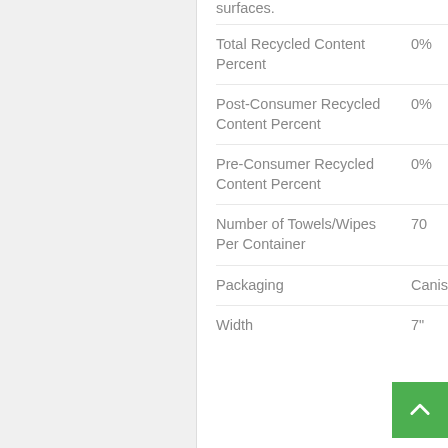surfaces.
| Property | Value |
| --- | --- |
| Total Recycled Content Percent | 0% |
| Post-Consumer Recycled Content Percent | 0% |
| Pre-Consumer Recycled Content Percent | 0% |
| Number of Towels/Wipes Per Container | 70 |
| Packaging | Canister |
| Width | 7" |